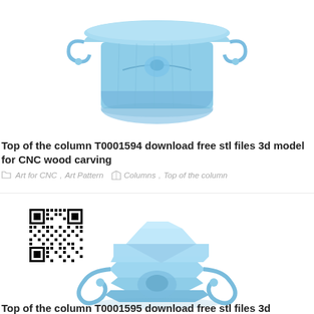[Figure (photo): 3D render of a decorative column top (capital) T0001594, light blue colored, with ornate scroll details and classical architectural styling, shown from a slightly elevated angle]
Top of the column T0001594 download free stl files 3d model for CNC wood carving
Art for CNC, Art Pattern   Columns, Top of the column
[Figure (photo): 3D render of another decorative column capital T0001595, light blue colored, with large volute scrolls at corners and square top plate, classical Ionic style, shown from a slightly elevated perspective. A QR code is overlaid in the upper left corner of the image.]
Top of the column T0001595 download free stl files 3d